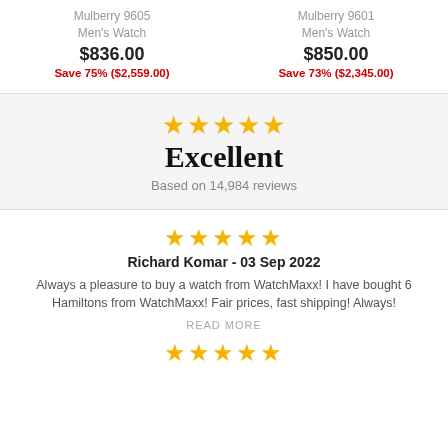Mulberry 9605 Men's Watch
$836.00
Save 75% ($2,559.00)
Mulberry 9601 Men's Watch
$850.00
Save 73% ($2,345.00)
[Figure (infographic): Five gold stars indicating Excellent rating]
Excellent
Based on 14,984 reviews
[Figure (infographic): Five gold stars for review rating]
Richard Komar - 03 Sep 2022
Always a pleasure to buy a watch from WatchMaxx! I have bought 6 Hamiltons from WatchMaxx! Fair prices, fast shipping! Always!
READ MORE
[Figure (infographic): Five gold stars for next review rating]